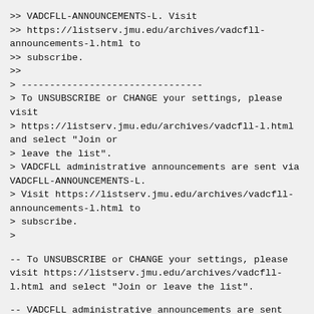>> VADCFLL-ANNOUNCEMENTS-L. Visit
>> https://listserv.jmu.edu/archives/vadcfll-announcements-l.html to
>> subscribe.
>>
> --------------------------------
> To UNSUBSCRIBE or CHANGE your settings, please visit
> https://listserv.jmu.edu/archives/vadcfll-l.html and select "Join or
> leave the list".
> VADCFLL administrative announcements are sent via VADCFLL-ANNOUNCEMENTS-L.
> Visit https://listserv.jmu.edu/archives/vadcfll-announcements-l.html to
> subscribe.
>
-- To UNSUBSCRIBE or CHANGE your settings, please visit https://listserv.jmu.edu/archives/vadcfll-l.html and select "Join or leave the list".
-- VADCFLL administrative announcements are sent via VADCFLL-ANNOUNCEMENTS-L. Visit https://listserv.jmu.edu/archives/vadcfll-ANNOUNCEMENTS-l.html to subscribe.